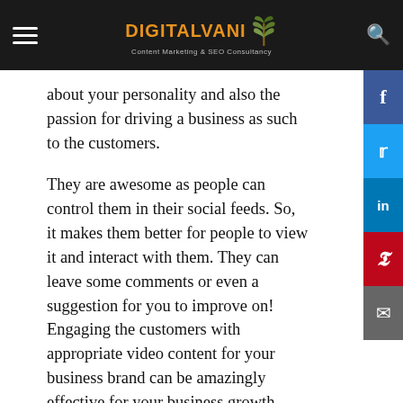DIGITALVANI — Content Marketing & SEO Consultancy
about your personality and also the passion for driving a business as such to the customers.
They are awesome as people can control them in their social feeds. So, it makes them better for people to view it and interact with them. They can leave some comments or even a suggestion for you to improve on! Engaging the customers with appropriate video content for your business brand can be amazingly effective for your business growth. You just have to create narrative, interesting, eye-catching, and curiosity-driven video content for yourself!
You must address problems